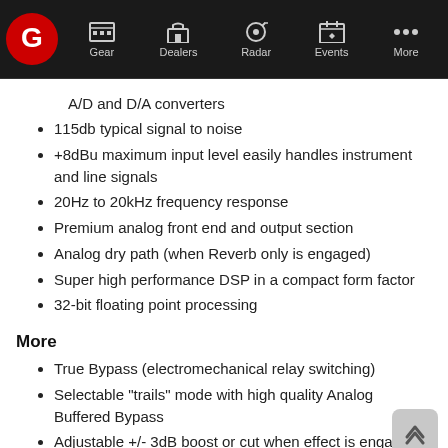Gear | Dealers | Radar | Events | More
A/D and D/A converters
115db typical signal to noise
+8dBu maximum input level easily handles instrument and line signals
20Hz to 20kHz frequency response
Premium analog front end and output section
Analog dry path (when Reverb only is engaged)
Super high performance DSP in a compact form factor
32-bit floating point processing
More
True Bypass (electromechanical relay switching)
Selectable "trails" mode with high quality Analog Buffered Bypass
Adjustable +/- 3dB boost or cut when effect is engaged